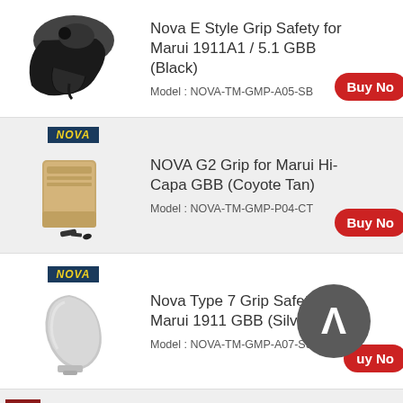[Figure (photo): Black grip safety part for 1911A1 pistol]
Nova E Style Grip Safety for Marui 1911A1 / 5.1 GBB (Black)
Model : NOVA-TM-GMP-A05-SB
[Figure (photo): Nova logo badge and coyote tan G2 grip for Hi-Capa GBB]
NOVA G2 Grip for Marui Hi-Capa GBB (Coyote Tan)
Model : NOVA-TM-GMP-P04-CT
[Figure (photo): Nova logo badge and silver grip safety for 1911 GBB, with lambda symbol overlay]
Nova Type 7 Grip Safety for Marui 1911 GBB (Silver)
Model : NOVA-TM-GMP-A07-SS